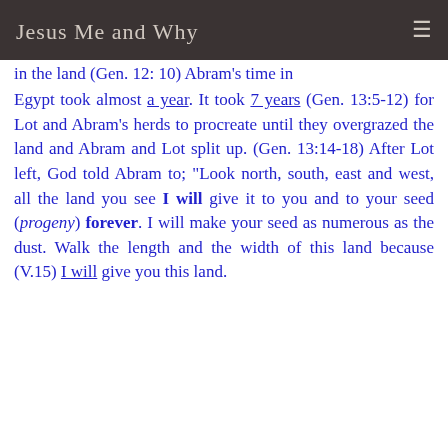Jesus Me and Why
Egypt took almost a year. It took 7 years (Gen. 13:5-12) for Lot and Abram's herds to procreate until they overgrazed the land and Abram and Lot split up. (Gen. 13:14-18) After Lot left, God told Abram to; "Look north, south, east and west, all the land you see I will give it to you and to your seed (progeny) forever. I will make your seed as numerous as the dust. Walk the length and the width of this land because (V.15) I will give you this land.